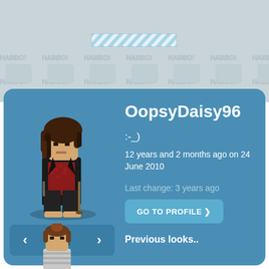[Figure (screenshot): Habbo hotel profile page background with repeating HABBO! text and pixel character icons in a grey tiled pattern]
[Figure (other): Blue-white diagonal striped loading bar element]
[Figure (illustration): Pixel art Habbo avatar character with long dark wavy hair, black jacket, red shirt, dark pants, standing on a platform]
OopsyDaisy96
:-_)
12 years and 2 months ago on 24 June 2010
Last change: 3 years ago
GO TO PROFILE ❯
Previous looks..
[Figure (illustration): Pixel art Habbo avatar character with brown hair in a bun, white/grey striped shirt, partially visible at bottom of page]